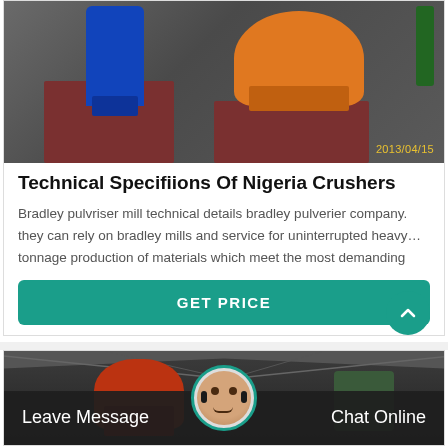[Figure (photo): Industrial machinery photo showing a blue electric motor and orange bowl crusher/mill on metal stands in a workshop, timestamped 2013/04/15]
Technical Specifiions Of Nigeria Crushers
Bradley pulvriser mill technical details bradley pulverier company. they can rely on bradley mills and service for uninterrupted heavy… tonnage production of materials which meet the most demanding
GET PRICE
[Figure (photo): Industrial facility interior showing large red/orange machinery under a metal roof structure]
Leave Message
Chat Online